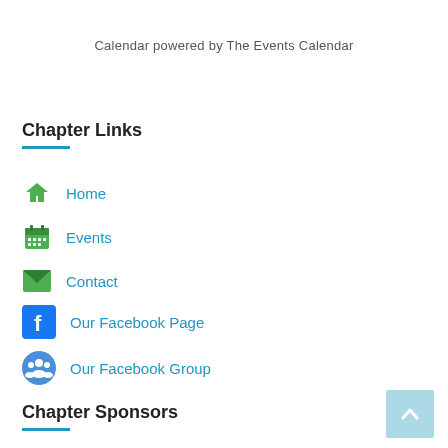Calendar powered by The Events Calendar
Chapter Links
Home
Events
Contact
Our Facebook Page
Our Facebook Group
Chapter Sponsors